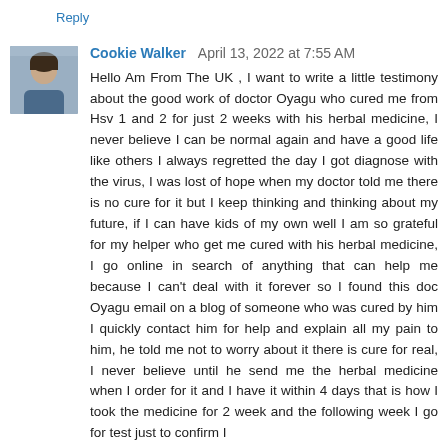Reply
Cookie Walker  April 13, 2022 at 7:55 AM
Hello Am From The UK , I want to write a little testimony about the good work of doctor Oyagu who cured me from Hsv 1 and 2 for just 2 weeks with his herbal medicine, I never believe I can be normal again and have a good life like others I always regretted the day I got diagnose with the virus, I was lost of hope when my doctor told me there is no cure for it but I keep thinking and thinking about my future, if I can have kids of my own well I am so grateful for my helper who get me cured with his herbal medicine, I go online in search of anything that can help me because I can't deal with it forever so I found this doc Oyagu email on a blog of someone who was cured by him I quickly contact him for help and explain all my pain to him, he told me not to worry about it there is cure for real, I never believe until he send me the herbal medicine when I order for it and I have it within 4 days that is how I took the medicine for 2 week and the following week I go for test just to confirm I